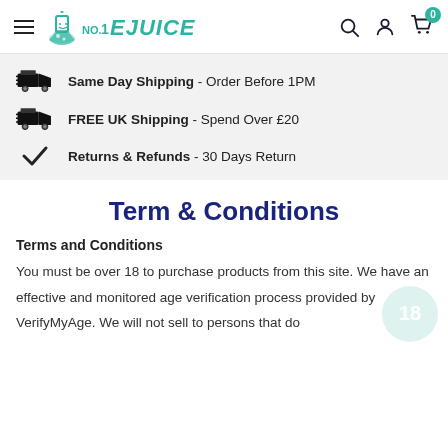NO.1 EJUICE — navigation header with logo, search, account, cart icons
Same Day Shipping - Order Before 1PM
FREE UK Shipping - Spend Over £20
Returns & Refunds - 30 Days Return
Term & Conditions
Terms and Conditions
You must be over 18 to purchase products from this site. We have an effective and monitored age verification process provided by VerifyMyAge. We will not sell to persons that do